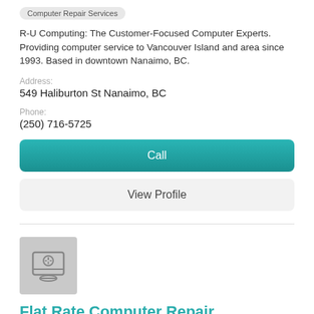Computer Repair Services
R-U Computing: The Customer-Focused Computer Experts. Providing computer service to Vancouver Island and area since 1993. Based in downtown Nanaimo, BC.
Address:
549 Haliburton St Nanaimo, BC
Phone:
(250) 716-5725
Call
View Profile
[Figure (logo): Gray placeholder logo box with a laptop/document icon]
Flat Rate Computer Repair
Computer Repair Services